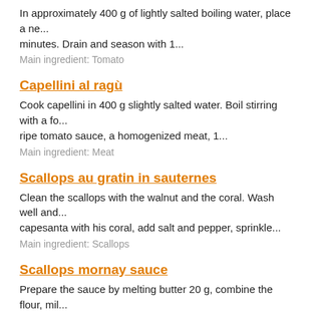In approximately 400 g of lightly salted boiling water, place a ne... minutes. Drain and season with 1...
Main ingredient: Tomato
Capellini al ragù
Cook capellini in 400 g slightly salted water. Boil stirring with a fo... ripe tomato sauce, a homogenized meat, 1...
Main ingredient: Meat
Scallops au gratin in sauternes
Clean the scallops with the walnut and the coral. Wash well and... capesanta with his coral, add salt and pepper, sprinkle...
Main ingredient: Scallops
Scallops mornay sauce
Prepare the sauce by melting butter 20 g, combine the flour, mil... cream, salt, pepper, nutmeg, parmesan cheese and...
Main ingredient: Scallops